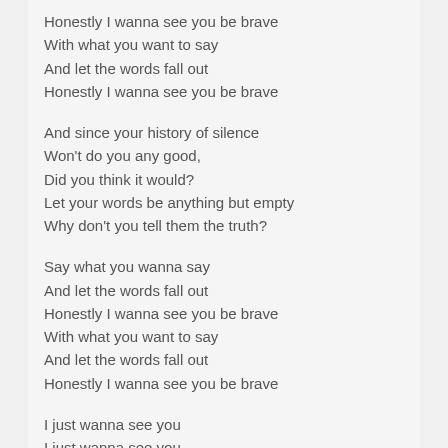Honestly I wanna see you be brave
With what you want to say
And let the words fall out
Honestly I wanna see you be brave
And since your history of silence
Won't do you any good,
Did you think it would?
Let your words be anything but empty
Why don't you tell them the truth?
Say what you wanna say
And let the words fall out
Honestly I wanna see you be brave
With what you want to say
And let the words fall out
Honestly I wanna see you be brave
I just wanna see you
I just wanna see you
I just wanna see you